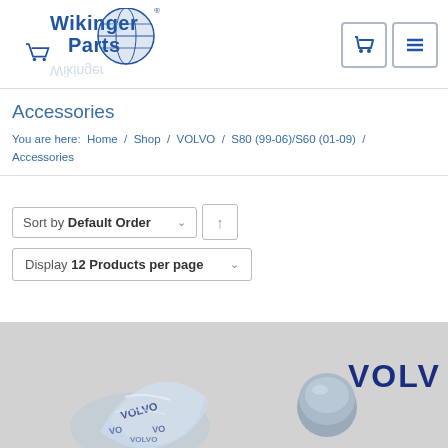[Figure (logo): Wikinger Parts logo with globe graphic and shopping cart icon]
Accessories
You are here: Home / Shop / VOLVO / S80 (99-06)/S60 (01-09) / Accessories
Sort by Default Order
Display 12 Products per page
[Figure (photo): Product image showing Volvo branded accessories including wrapped item and a grey cap/plug, with VOLVO text on right side, on grey background]